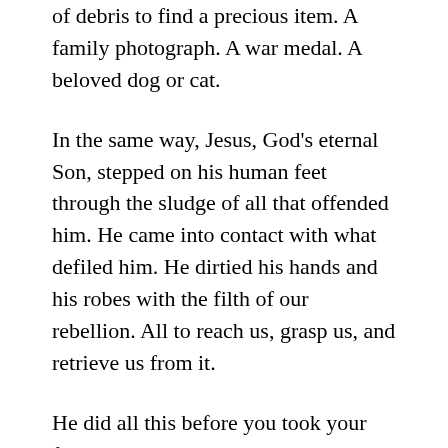of debris to find a precious item. A family photograph. A war medal. A beloved dog or cat.
In the same way, Jesus, God's eternal Son, stepped on his human feet through the sludge of all that offended him. He came into contact with what defiled him. He dirtied his hands and his robes with the filth of our rebellion. All to reach us, grasp us, and retrieve us from it.
He did all this before you took your first breath, knowing you would need his rescue.
4. Jesus was willing to send